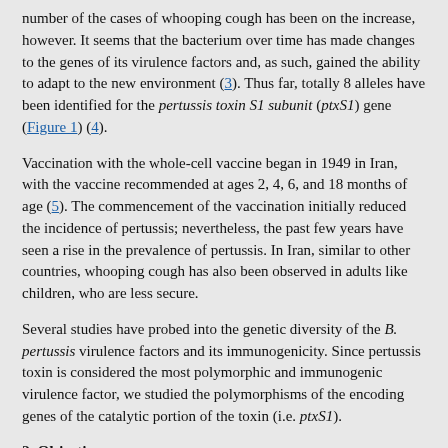number of the cases of whooping cough has been on the increase, however. It seems that the bacterium over time has made changes to the genes of its virulence factors and, as such, gained the ability to adapt to the new environment (3). Thus far, totally 8 alleles have been identified for the pertussis toxin S1 subunit (ptxS1) gene (Figure 1) (4).
Vaccination with the whole-cell vaccine began in 1949 in Iran, with the vaccine recommended at ages 2, 4, 6, and 18 months of age (5). The commencement of the vaccination initially reduced the incidence of pertussis; nevertheless, the past few years have seen a rise in the prevalence of pertussis. In Iran, similar to other countries, whooping cough has also been observed in adults like children, who are less secure.
Several studies have probed into the genetic diversity of the B. pertussis virulence factors and its immunogenicity. Since pertussis toxin is considered the most polymorphic and immunogenic virulence factor, we studied the polymorphisms of the encoding genes of the catalytic portion of the toxin (i.e. ptxS1).
2. Objectives
The aim of this research was to determine the alleles of ptxS1 in the circulating strains of B. pertussis and compare them to the vaccine strain.
3. Patients and Methods